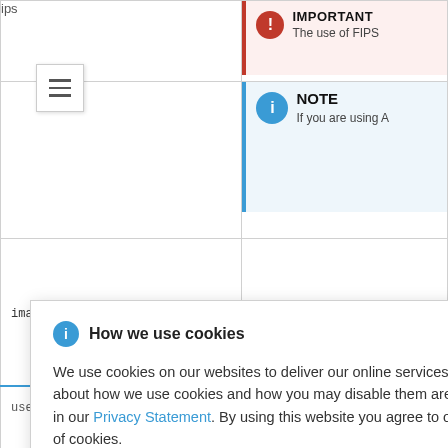[Figure (screenshot): Red important callout box with bold 'IMPORTANT' heading and text 'The use of FIPS' (truncated)]
tips
[Figure (screenshot): Blue note callout box with bold 'NOTE' heading and text 'If you are using A' (truncated)]
|  |  |
| --- | --- |
| imageContentSources | Sources and repositories for th |
use imageContentSources (truncated)
more repositories (truncated)
or expose the us (truncated)
The SSH key or how to authenti (truncated)
[Figure (screenshot): Cookie consent popup overlay: 'How we use cookies' with blue info icon and close X. Body text: 'We use cookies on our websites to deliver our online services. Details about how we use cookies and how you may disable them are set out in our Privacy Statement. By using this website you agree to our use of cookies.']